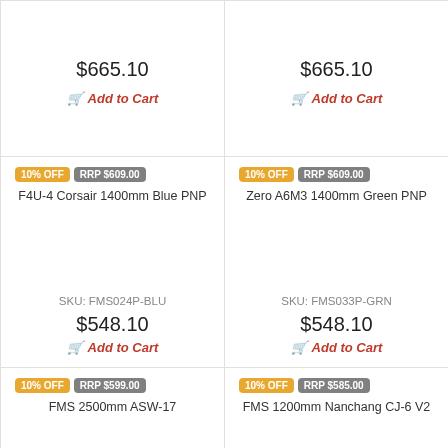$665.10 | Add to Cart (top-left)
$665.10 | Add to Cart (top-right)
10% OFF | RRP $609.00 | F4U-4 Corsair 1400mm Blue PNP | SKU: FMS024P-BLU | $548.10 | Add to Cart
10% OFF | RRP $609.00 | Zero A6M3 1400mm Green PNP | SKU: FMS033P-GRN | $548.10 | Add to Cart
10% OFF | RRP $599.00 | FMS 2500mm ASW-17 | SKU: FMS129P
10% OFF | RRP $585.00 | FMS 1200mm Nanchang CJ-6 V2 | SKU: FMS133P-REF